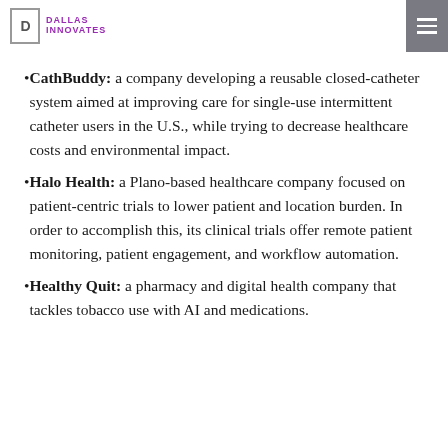Dallas Innovates
CathBuddy: a company developing a reusable closed-catheter system aimed at improving care for single-use intermittent catheter users in the U.S., while trying to decrease healthcare costs and environmental impact.
Halo Health: a Plano-based healthcare company focused on patient-centric trials to lower patient and location burden. In order to accomplish this, its clinical trials offer remote patient monitoring, patient engagement, and workflow automation.
Healthy Quit: a pharmacy and digital health company that tackles tobacco use with AI and medications.